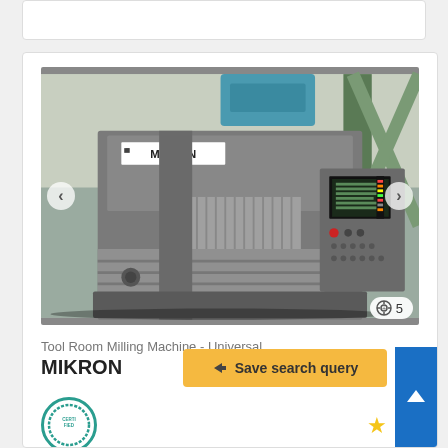[Figure (photo): Photo of a MIKRON Tool Room Milling Machine - Universal CNC milling machine in an industrial workshop setting, shown from a front-angle view with a visible CNC control panel on the right side.]
🔍 5
Tool Room Milling Machine - Universal
MIKRON
➤ Save search query
[Figure (logo): Certified badge/seal (partially visible at bottom left), circular teal/green border with 'CERTIFIED' text]